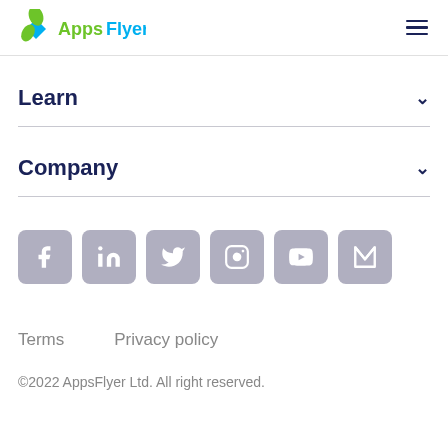[Figure (logo): AppsFlyer logo with green and blue leaf/diamond icon and text 'AppsFlyer' in green and blue]
[Figure (other): Hamburger menu icon (three horizontal lines) in dark navy]
Learn
Company
[Figure (other): Row of 6 social media icons: Facebook, LinkedIn, Twitter, Instagram, YouTube, and a custom M icon — all in rounded gray squares]
Terms    Privacy policy
©2022 AppsFlyer Ltd. All right reserved.